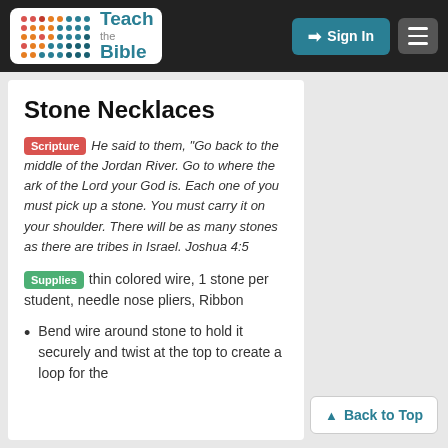Teach the Bible — Sign In
Stone Necklaces
Scripture He said to them, "Go back to the middle of the Jordan River. Go to where the ark of the Lord your God is. Each one of you must pick up a stone. You must carry it on your shoulder. There will be as many stones as there are tribes in Israel. Joshua 4:5
Supplies thin colored wire, 1 stone per student, needle nose pliers, Ribbon
Bend wire around stone to hold it securely and twist at the top to create a loop for the
Back to Top